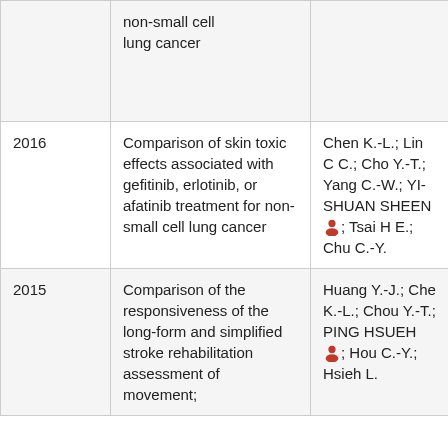| Year | Title | Authors |
| --- | --- | --- |
|  | non-small cell lung cancer |  |
| 2016 | Comparison of skin toxic effects associated with gefitinib, erlotinib, or afatinib treatment for non-small cell lung cancer | Chen K.-L.; Lin C C.; Cho Y.-T.; Yang C.-W.; YI-SHUAN SHEEN 👤; Tsai H E.; Chu C.-Y. |
| 2015 | Comparison of the responsiveness of the long-form and simplified stroke rehabilitation assessment of movement; | Huang Y.-J.; Che K.-L.; Chou Y.-T.; PING HSUEH 👤; Hou C.-Y.; Hsieh L. |